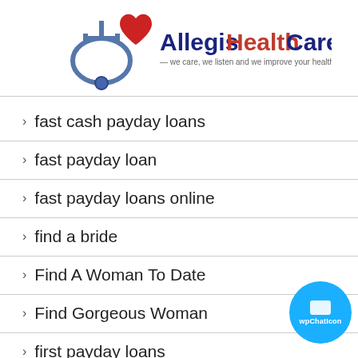[Figure (logo): Allegis HealthCare logo with red heart, stethoscope, and tagline 'we care, we listen and we improve your health']
fast cash payday loans
fast payday loan
fast payday loans online
find a bride
Find A Woman To Date
Find Gorgeous Woman
first payday loans
[Figure (illustration): Blue circular chat icon with wpChatIcon label]